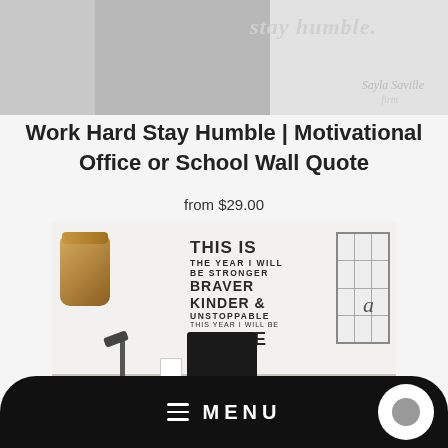[Figure (photo): Top portion of a room photo showing a gray wall background with 'stay humble.' quote text and a watermark/logo on the right side]
Work Hard Stay Humble | Motivational Office or School Wall Quote
from $29.00
[Figure (photo): Room interior showing a white wall with a motivational wall decal reading 'THIS IS THE YEAR I WILL BE STRONGER BRAVER KINDER & UNSTOPPABLE THIS YEAR I WILL BE FIERCE', with a wicker basket on the left, a grid frame on the right, and a desk with lamp and laptop at the bottom]
MENU